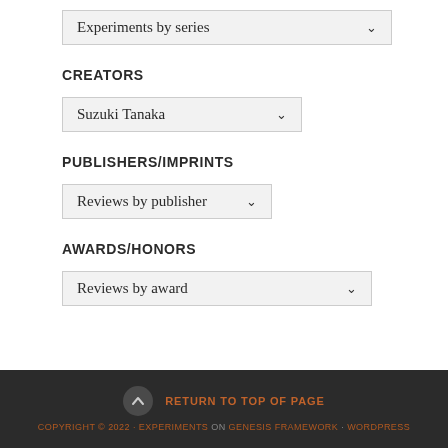[Figure (screenshot): Dropdown selector labeled 'Experiments by series']
CREATORS
[Figure (screenshot): Dropdown selector labeled 'Suzuki Tanaka']
PUBLISHERS/IMPRINTS
[Figure (screenshot): Dropdown selector labeled 'Reviews by publisher']
AWARDS/HONORS
[Figure (screenshot): Dropdown selector labeled 'Reviews by award']
RETURN TO TOP OF PAGE · COPYRIGHT © 2022 · EXPERIMENTS ON · GENESIS FRAMEWORK · WORDPRESS